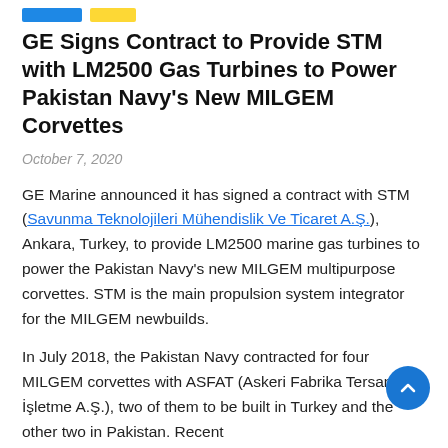GE Signs Contract to Provide STM with LM2500 Gas Turbines to Power Pakistan Navy's New MILGEM Corvettes
October 7, 2020
GE Marine announced it has signed a contract with STM (Savunma Teknolojileri Mühendislik Ve Ticaret A.Ş.), Ankara, Turkey, to provide LM2500 marine gas turbines to power the Pakistan Navy's new MILGEM multipurpose corvettes. STM is the main propulsion system integrator for the MILGEM newbuilds.
In July 2018, the Pakistan Navy contracted for four MILGEM corvettes with ASFAT (Askeri Fabrika Tersane İşletme A.Ş.), two of them to be built in Turkey and the other two in Pakistan. Recent